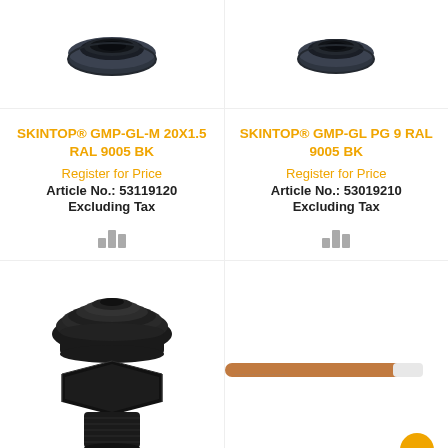[Figure (photo): Black plastic locknut/ring for SKINTOP GMP-GL-M 20X1.5 RAL 9005 BK, top-down view]
[Figure (photo): Black plastic locknut/ring for SKINTOP GMP-GL PG 9 RAL 9005 BK, top-down view]
SKINTOP® GMP-GL-M 20X1.5 RAL 9005 BK
Register for Price
Article No.: 53119120
Excluding Tax
SKINTOP® GMP-GL PG 9 RAL 9005 BK
Register for Price
Article No.: 53019210
Excluding Tax
[Figure (photo): Black plastic cable gland, front/side view]
[Figure (photo): Brown/orange electrical wire or cable, horizontal, with orange help button in bottom right corner]